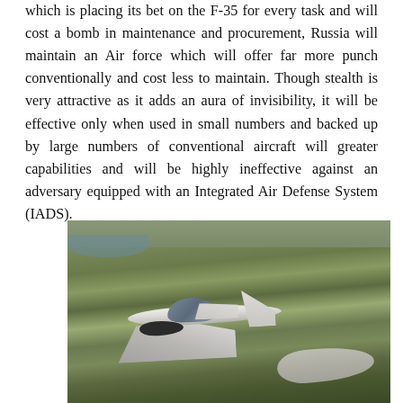which is placing its bet on the F-35 for every task and will cost a bomb in maintenance and procurement, Russia will maintain an Air force which will offer far more punch conventionally and cost less to maintain. Though stealth is very attractive as it adds an aura of invisibility, it will be effective only when used in small numbers and backed up by large numbers of conventional aircraft will greater capabilities and will be highly ineffective against an adversary equipped with an Integrated Air Defense System (IADS).
[Figure (photo): A Eurofighter Typhoon fighter jet flying low over hilly green terrain, with a second aircraft visible in the lower right background. The landscape shows hills and possibly a body of water in the upper left.]